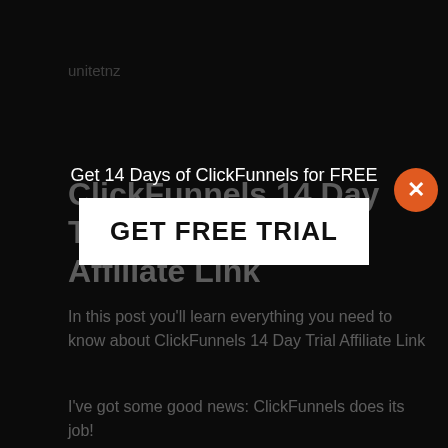unitetnz
ClickFunnels 14 Day Trial Affiliate Link
In this post you'll learn everything you need to know about ClickFunnels 14 Day Trial Affiliate Link
I've got some good news: ClickFunnels does its job!
ClickFunnels is intended to save you time and energy-to do what otherwise requires a lot of
[Figure (screenshot): Modal popup overlay with text 'Get 14 Days of ClickFunnels for FREE' and a white button labeled 'GET FREE TRIAL' in bold black text, with an orange X close button in the top right corner]